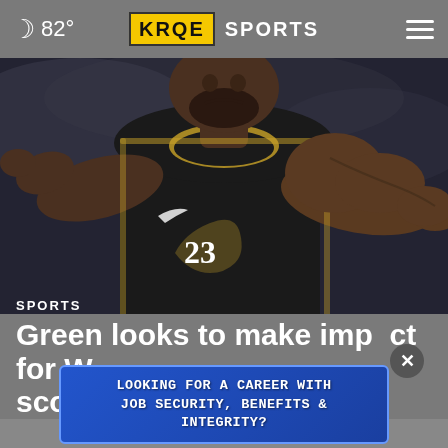🌙 82° | KRQE SPORTS
[Figure (photo): Basketball player wearing Golden State Warriors #23 black and gold jersey, arms extended, grimacing expression, dark background]
SPORTS
Green looks to make impact for Warriors with sco…
LOOKING FOR A CAREER WITH JOB SECURITY, BENEFITS & INTEGRITY?